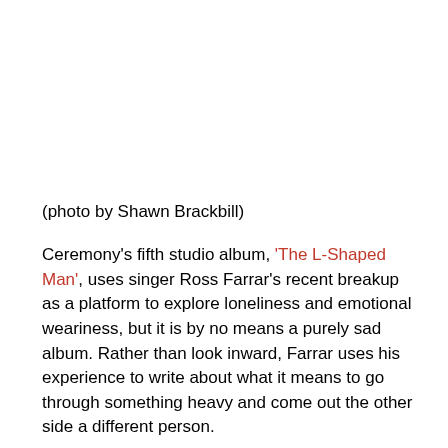(photo by Shawn Brackbill)
Ceremony's fifth studio album, 'The L-Shaped Man', uses singer Ross Farrar's recent breakup as a platform to explore loneliness and emotional weariness, but it is by no means a purely sad album. Rather than look inward, Farrar uses his experience to write about what it means to go through something heavy and come out the other side a different person.
In telling Farrar's story, Ceremony have almost completely stripped back the propulsive hardcore of their previous records, turning every angry outburst into simmering despair.